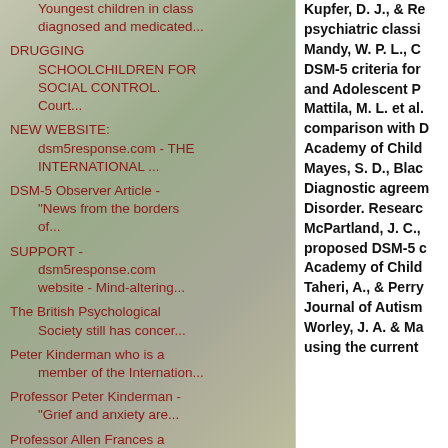Youngest children in class diagnosed and medicated...
DRUGGING SCHOOLCHILDREN FOR SOCIAL CONTROL. Court...
NEW WEBSITE: dsm5response.com - THE INTERNATIONAL ...
DSM-5 Observer Article - "News from the borders of...
SUPPORT - dsm5response.com website - Mind-altering...
The British Psychological Society still has concer...
Peter Kinderman who is a member of the Internation...
Professor Peter Kinderman - "Grief and anxiety are...
Professor Allen Frances a member of the Internatio...
Kupfer, D. J., & Re psychiatric classi Mandy, W. P. L., C DSM-5 criteria for and Adolescent P Mattila, M. L. et al. comparison with D Academy of Child Mayes, S. D., Blac Diagnostic agreem Disorder. Researc McPartland, J. C., proposed DSM-5 c Academy of Child Taheri, A., & Perry Journal of Autism Worley, J. A. & Ma using the current